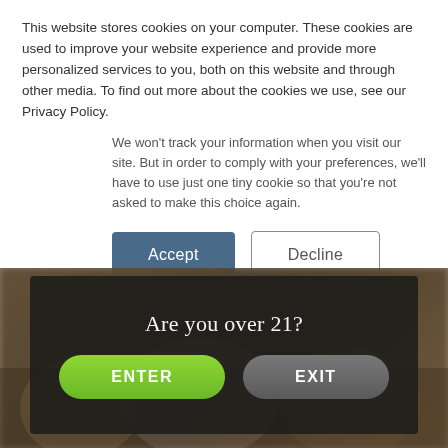This website stores cookies on your computer. These cookies are used to improve your website experience and provide more personalized services to you, both on this website and through other media. To find out more about the cookies we use, see our Privacy Policy.
We won't track your information when you visit our site. But in order to comply with your preferences, we'll have to use just one tiny cookie so that you're not asked to make this choice again.
Accept | Decline
[Figure (screenshot): Age verification modal overlay on a blurred restaurant/bar background photo. Shows 'Are you over 21?' text with two rounded buttons: a green 'ENTER' button and a gray 'EXIT' button.]